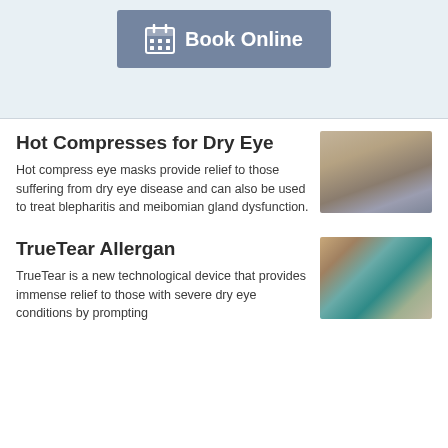[Figure (screenshot): Book Online button with calendar icon on a light blue-grey background]
Hot Compresses for Dry Eye
[Figure (photo): Young girl with eyes closed, hands on head, wearing grey jacket]
Hot compress eye masks provide relief to those suffering from dry eye disease and can also be used to treat blepharitis and meibomian gland dysfunction.
TrueTear Allergan
[Figure (photo): Close-up of a human eye with sparkle effect]
TrueTear is a new technological device that provides immense relief to those with severe dry eye conditions by prompting